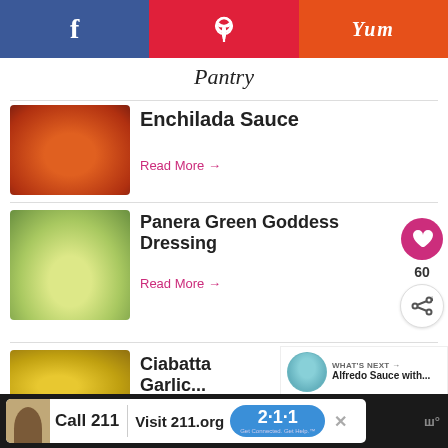Facebook | Pinterest | Yum | Pantry
Enchilada Sauce
Read More →
Panera Green Goddess Dressing
Read More →
60
Ciabatta Garlic...
WHAT'S NEXT → Alfredo Sauce with...
Call 211 | Visit 211.org | 2·1·1